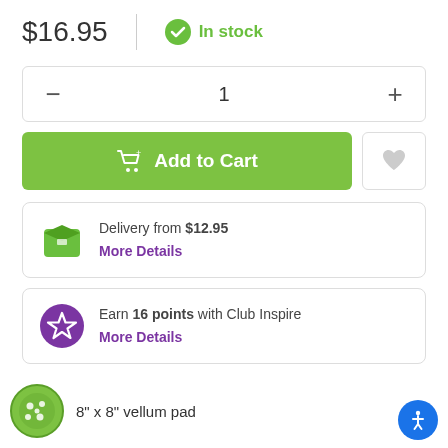$16.95
In stock
1
Add to Cart
Delivery from $12.95
More Details
Earn 16 points with Club Inspire
More Details
8" x 8" vellum pad